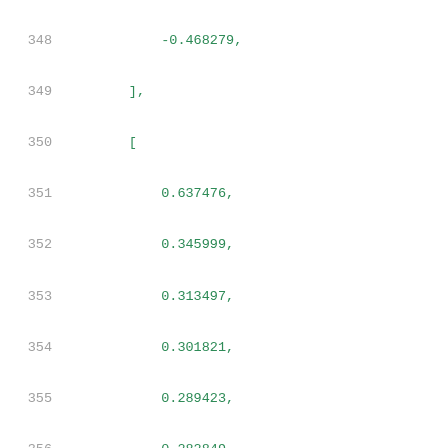348    -0.468279,
349    ],
350    [
351        0.637476,
352        0.345999,
353        0.313497,
354        0.301821,
355        0.289423,
356        0.282849,
357        0.275933,
358        0.268568,
359        0.2606,
360        0.251816,
361        0.241976,
362        0.230915,
363        0.218605,
364        0.205102,
365        0.190488,
366        0.174852,
367        0.158277,
368        0.14084,
369        0.122614,